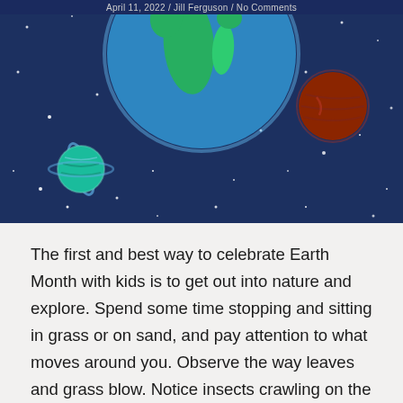April 11, 2022 / Jill Ferguson / No Comments
[Figure (illustration): Space illustration showing Earth (blue and green globe) at top center, a red-brown planet at upper right, a smaller blue-green ringed planet at lower left, all set against a dark navy blue starry space background with white star dots scattered throughout.]
The first and best way to celebrate Earth Month with kids is to get out into nature and explore. Spend some time stopping and sitting in grass or on sand, and pay attention to what moves around you. Observe the way leaves and grass blow. Notice insects crawling on the ground. Take some time to